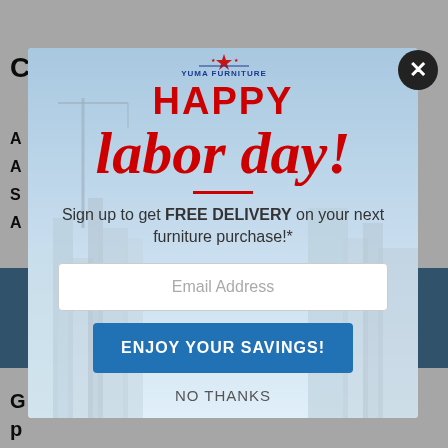CONTEMPORARY 2-DRAWER
[Figure (screenshot): Yuma Furniture website with a Labor Day promotional popup modal overlay. The modal shows the Yuma Furniture logo at top, 'HAPPY' in red bold text, 'labor day!' in large red italic script, a red underline, signup text for free delivery, an email address input field, an 'ENJOY YOUR SAVINGS!' blue button, and a 'NO THANKS' text link. Background shows partial furniture product page.]
Sign up to get FREE DELIVERY on your next furniture purchase!*
Email Address
ENJOY YOUR SAVINGS!
NO THANKS